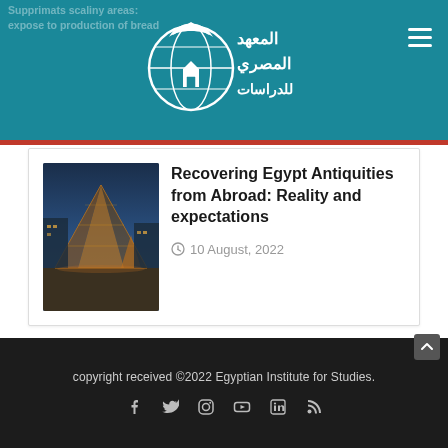المعهد المصري للدراسات
Supprimats scaliny areas:
expose to production of bread
[Figure (photo): Photo of the Louvre pyramid at night with warm golden lighting against a blue dusk sky]
Recovering Egypt Antiquities from Abroad: Reality and expectations
10 August, 2022
copyright received ©2022 Egyptian Institute for Studies.